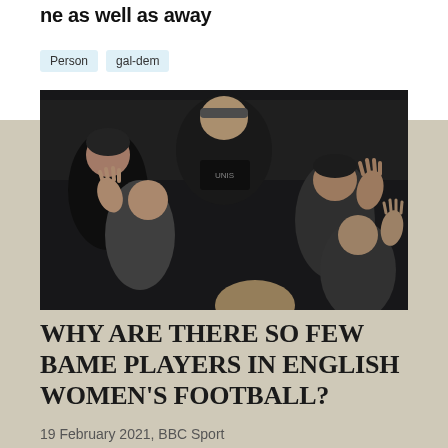ne as well as away
Person   gal-dem
[Figure (photo): Crowd of football fans in stadium stands, some making gestures with raised hands, photographed at night, dark clothing]
WHY ARE THERE SO FEW BAME PLAYERS IN ENGLISH WOMEN'S FOOTBALL?
19 February 2021,  BBC Sport
Read More